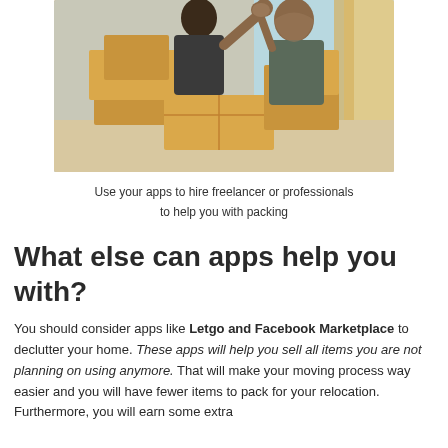[Figure (photo): Two people giving each other a high-five over a stack of moving boxes in a room with windows and curtains. A man with a bun hairstyle and a woman with curly hair are both smiling.]
Use your apps to hire freelancer or professionals to help you with packing
What else can apps help you with?
You should consider apps like Letgo and Facebook Marketplace to declutter your home. These apps will help you sell all items you are not planning on using anymore. That will make your moving process way easier and you will have fewer items to pack for your relocation. Furthermore, you will earn some extra